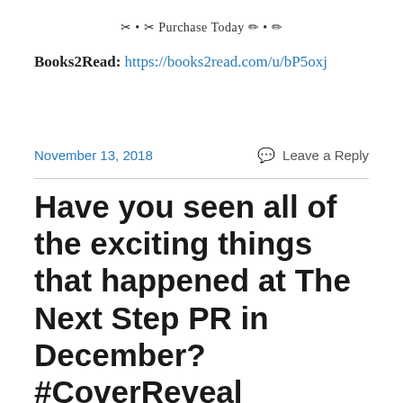✂ • ✂ Purchase Today ✏ • ✏
Books2Read: https://books2read.com/u/bP5oxj
November 13, 2018
💬 Leave a Reply
Have you seen all of the exciting things that happened at The Next Step PR in December? #CoverReveal #NewRelease #Giveaway #SignUp #PreOrder